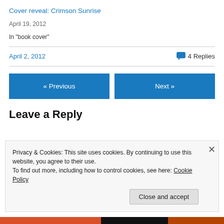Cover reveal: Crimson Sunrise
April 19, 2012
In "book cover"
April 2, 2012
4 Replies
« Previous
Next »
Leave a Reply
Privacy & Cookies: This site uses cookies. By continuing to use this website, you agree to their use.
To find out more, including how to control cookies, see here: Cookie Policy
Close and accept